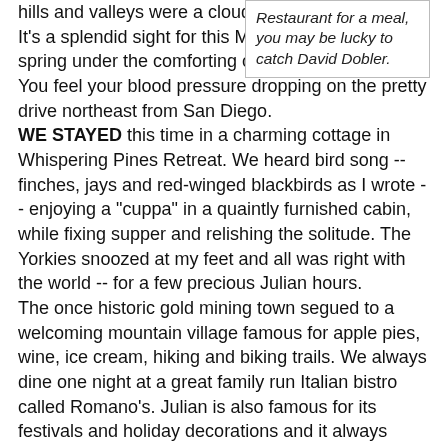hills and valleys were a cloud of ivory and pink.
It's a splendid sight for this Montana kid, missing spring under the comforting cloak of the Big Sky. You feel your blood pressure dropping on the pretty drive northeast from San Diego.
WE STAYED this time in a charming cottage in Whispering Pines Retreat. We heard bird song -- finches, jays and red-winged blackbirds as I wrote -- enjoying a "cuppa" in a quaintly furnished cabin, while fixing supper and relishing the solitude. The Yorkies snoozed at my feet and all was right with the world -- for a few precious Julian hours.
The once historic gold mining town segued to a welcoming mountain village famous for apple pies, wine, ice cream, hiking and biking trails. We always dine one night at a great family run Italian bistro called Romano's. Julian is also famous for its festivals and holiday decorations and it always feels like a holiday at Romano's.
 THE APPLE CAPITAL of the world offers a get-away both soothing and exciting. There's plenty to do besides the famous fall apple fest. Think history.  The town was founded just
Restaurant for a meal, you may be lucky to catch David Dobler.